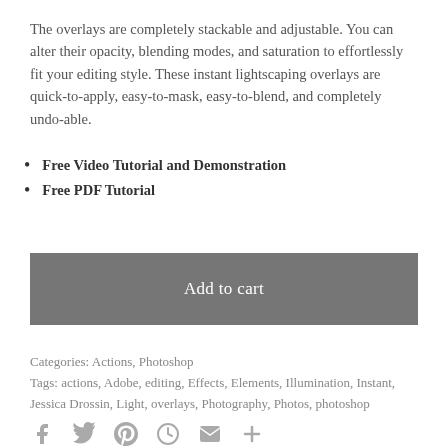The overlays are completely stackable and adjustable. You can alter their opacity, blending modes, and saturation to effortlessly fit your editing style. These instant lightscaping overlays are quick-to-apply, easy-to-mask, easy-to-blend, and completely undo-able.
Free Video Tutorial and Demonstration
Free PDF Tutorial
Add to cart
Categories: Actions, Photoshop
Tags: actions, Adobe, editing, Effects, Elements, Illumination, Instant, Jessica Drossin, Light, overlays, Photography, Photos, photoshop